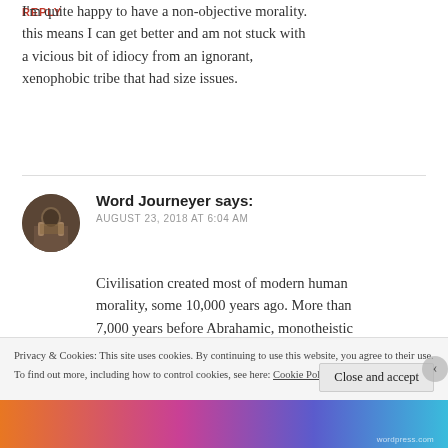I'm quite happy to have a non-objective morality. this means I can get better and am not stuck with a vicious bit of idiocy from an ignorant, xenophobic tribe that had size issues.
REPLY
Word Journeyer says:
AUGUST 23, 2018 AT 6:04 AM
Civilisation created most of modern human morality, some 10,000 years ago. More than 7,000 years before Abrahamic, monotheistic
Privacy & Cookies: This site uses cookies. By continuing to use this website, you agree to their use.
To find out more, including how to control cookies, see here: Cookie Policy
Close and accept